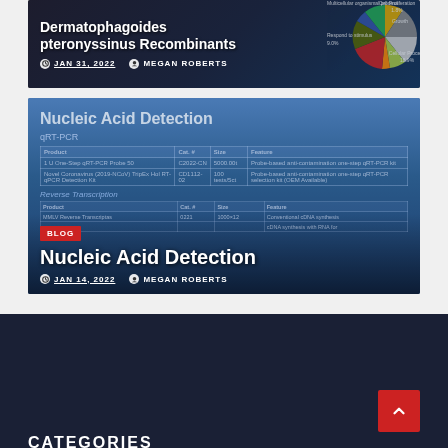[Figure (photo): Blog card image showing a pie chart with biological process categories including Multicellular organismal process, Respond to stimulus (9.0%), Cellular Process (18.9%), Growth, Cell Proliferation (1.8%), overlaid with bold white title text 'Dermatophagoides pteronyssinus Recombinants']
Dermatophagoides pteronyssinus Recombinants
JAN 31, 2022  MEGAN ROBERTS
[Figure (photo): Blog card image showing a photo of a product table for Nucleic Acid Detection with qRT-PCR section, showing Product, Cat. #, Size, Feature columns with entries for probe-based anti-contamination one-step qRT-PCR kits and reverse transcription detection kits]
BLOG
Nucleic Acid Detection
JAN 14, 2022  MEGAN ROBERTS
CATEGORIES